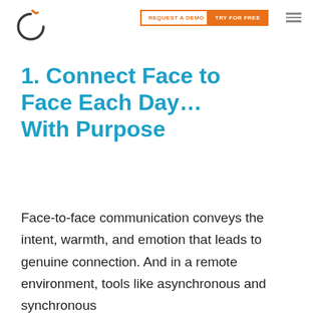[Figure (logo): Circular power-button style logo icon in dark gray and orange]
REQUEST A DEMO | TRY FOR FREE
1. Connect Face to Face Each Day… With Purpose
Face-to-face communication conveys the intent, warmth, and emotion that leads to genuine connection. And in a remote environment, tools like asynchronous and synchronous